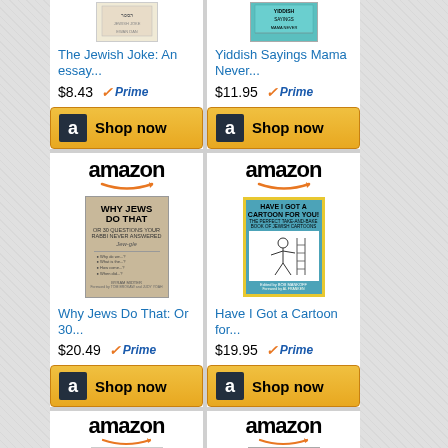[Figure (screenshot): Amazon product listing for 'The Jewish Joke: An essay...' priced at $8.43 with Prime, Shop now button]
[Figure (screenshot): Amazon product listing for 'Yiddish Sayings Mama Never...' priced at $11.95 with Prime, Shop now button]
[Figure (screenshot): Amazon product listing for 'Why Jews Do That: Or 30...' priced at $20.49 with Prime, Shop now button]
[Figure (screenshot): Amazon product listing for 'Have I Got a Cartoon for...' priced at $19.95 with Prime, Shop now button]
[Figure (screenshot): Amazon product listing partial view - Dr. Seuss book]
[Figure (screenshot): Amazon product listing partial view - Talking Parrot book]